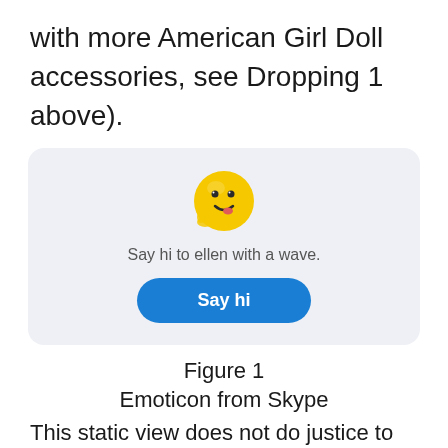with more American Girl Doll accessories, see Dropping 1 above).
[Figure (screenshot): A Skype UI card with a waving face emoticon, text 'Say hi to ellen with a wave.' and a blue 'Say hi' button on a light grey rounded rectangle background.]
Figure 1
Emoticon from Skype
This static view does not do justice to the